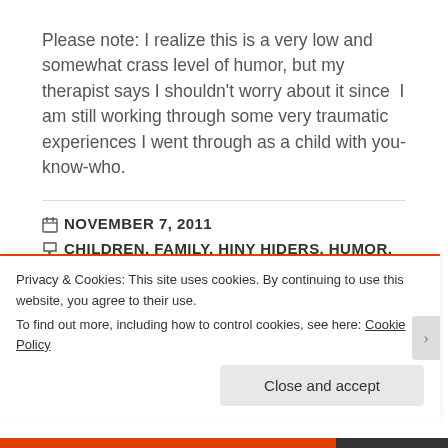Please note: I realize this is a very low and somewhat crass level of humor, but my therapist says I shouldn't worry about it since I am still working through some very traumatic experiences I went through as a child with you-know-who.
NOVEMBER 7, 2011
CHILDREN, FAMILY, HINY HIDERS, HUMOR, POTTY
8 COMMENTS
Privacy & Cookies: This site uses cookies. By continuing to use this website, you agree to their use.
To find out more, including how to control cookies, see here: Cookie Policy